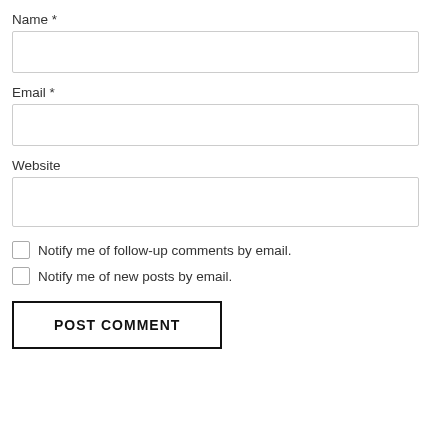Name *
[Figure (other): Empty text input field for Name]
Email *
[Figure (other): Empty text input field for Email]
Website
[Figure (other): Empty text input field for Website]
Notify me of follow-up comments by email.
Notify me of new posts by email.
POST COMMENT